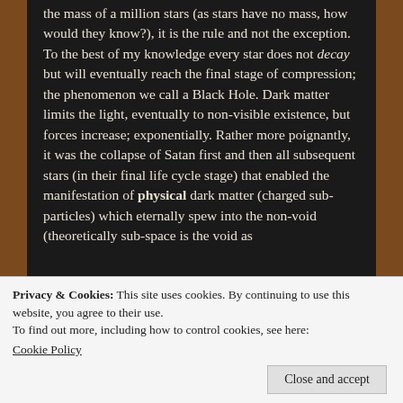the mass of a million stars (as stars have no mass, how would they know?), it is the rule and not the exception. To the best of my knowledge every star does not decay but will eventually reach the final stage of compression; the phenomenon we call a Black Hole. Dark matter limits the light, eventually to non-visible existence, but forces increase; exponentially. Rather more poignantly, it was the collapse of Satan first and then all subsequent stars (in their final life cycle stage) that enabled the manifestation of physical dark matter (charged sub-particles) which eternally spew into the non-void (theoretically sub-space is the void as
Privacy & Cookies: This site uses cookies. By continuing to use this website, you agree to their use.
To find out more, including how to control cookies, see here: Cookie Policy